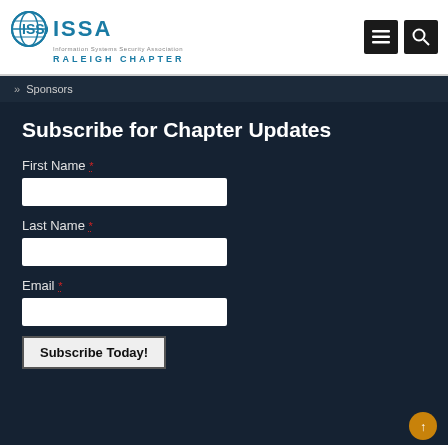ISSA RALEIGH CHAPTER
» Sponsors
Subscribe for Chapter Updates
First Name *
Last Name *
Email *
Subscribe Today!